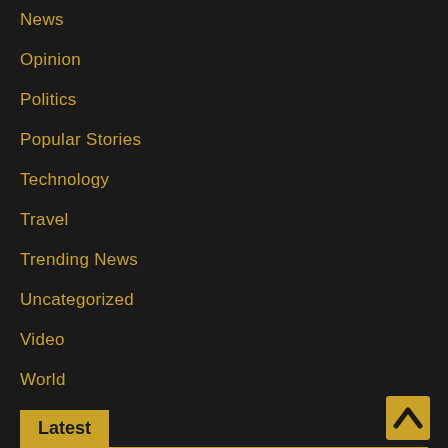News
Opinion
Politics
Popular Stories
Technology
Travel
Trending News
Uncategorized
Video
World
Latest
Small Businesses Share Their Experience With Amazon's Black Business Accelerator